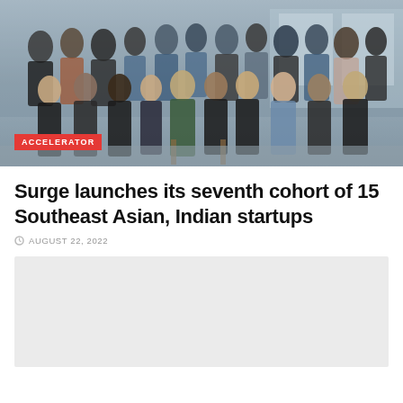[Figure (photo): Group photo of approximately 30 people standing and sitting outdoors, likely the Surge cohort 7 startup founders and team members. They are posed in front of a building. A red 'ACCELERATOR' tag label is overlaid in the bottom-left corner of the image.]
Surge launches its seventh cohort of 15 Southeast Asian, Indian startups
AUGUST 22, 2022
[Figure (photo): A light gray placeholder/loading image box below the article title.]